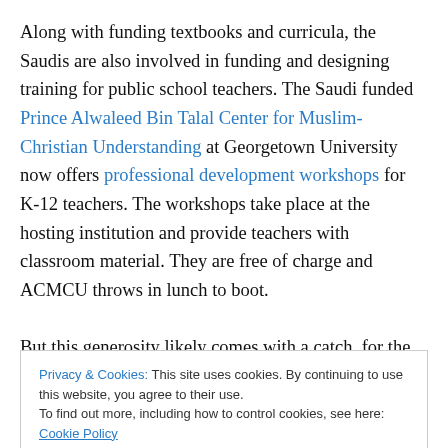Along with funding textbooks and curricula, the Saudis are also involved in funding and designing training for public school teachers. The Saudi funded Prince Alwaleed Bin Talal Center for Muslim-Christian Understanding at Georgetown University now offers professional development workshops for K-12 teachers. The workshops take place at the hosting institution and provide teachers with classroom material. They are free of charge and ACMCU throws in lunch to boot.

But this generosity likely comes with a catch, for the center
Privacy & Cookies: This site uses cookies. By continuing to use this website, you agree to their use.
To find out more, including how to control cookies, see here: Cookie Policy
[Close and accept button]
to her bio, has been an affiliated scholar with the Council